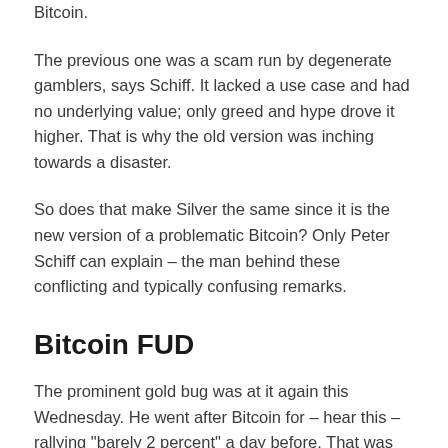Bitcoin.
The previous one was a scam run by degenerate gamblers, says Schiff. It lacked a use case and had no underlying value; only greed and hype drove it higher. That is why the old version was inching towards a disaster.
So does that make Silver the same since it is the new version of a problematic Bitcoin? Only Peter Schiff can explain – the man behind these conflicting and typically confusing remarks.
Bitcoin FUD
The prominent gold bug was at it again this Wednesday. He went after Bitcoin for – hear this – rallying “barely 2 percent” a day before. That was